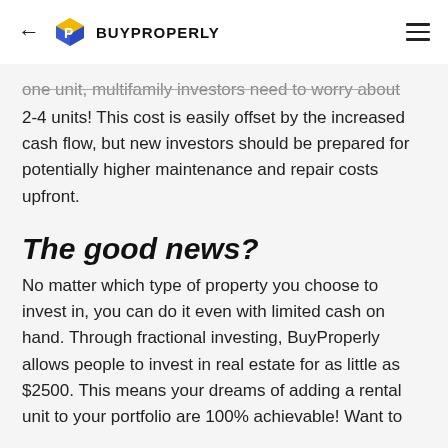← BUYPROPERLY
one unit, multifamily investors need to worry about 2-4 units! This cost is easily offset by the increased cash flow, but new investors should be prepared for potentially higher maintenance and repair costs upfront.
The good news?
No matter which type of property you choose to invest in, you can do it even with limited cash on hand. Through fractional investing, BuyProperly allows people to invest in real estate for as little as $2500. This means your dreams of adding a rental unit to your portfolio are 100% achievable! Want to